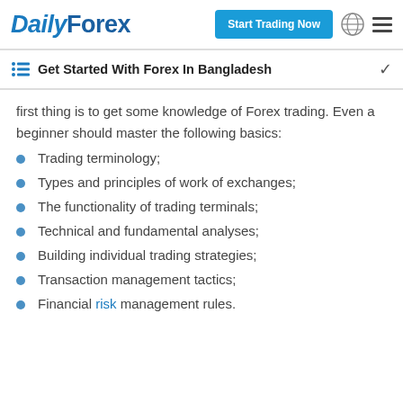DailyForex — Start Trading Now
Get Started With Forex In Bangladesh
first thing is to get some knowledge of Forex trading. Even a beginner should master the following basics:
Trading terminology;
Types and principles of work of exchanges;
The functionality of trading terminals;
Technical and fundamental analyses;
Building individual trading strategies;
Transaction management tactics;
Financial risk management rules.